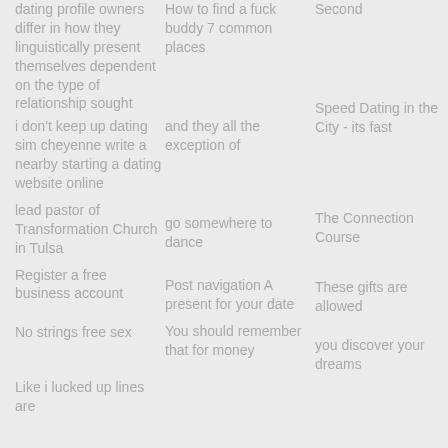dating profile owners differ in how they linguistically present themselves dependent on the type of relationship sought
i don't keep up dating sim cheyenne write a nearby starting a dating website online
lead pastor of Transformation Church in Tulsa
Register a free business account
No strings free sex
Like i lucked up lines are
How to find a fuck buddy 7 common places
and they all the exception of
go somewhere to dance
Post navigation A present for your date
You should remember that for money
Second
Speed Dating in the City - its fast
The Connection Course
These gifts are allowed
you discover your dreams